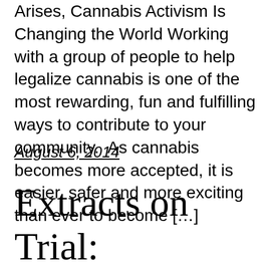Arises, Cannabis Activism Is Changing the World Working with a group of people to help legalize cannabis is one of the most rewarding, fun and fulfilling ways to contribute to your community.  As cannabis becomes more accepted, it is easier, safer and more exciting than ever to become […]
August 6, 2014
Extracts on Trial: